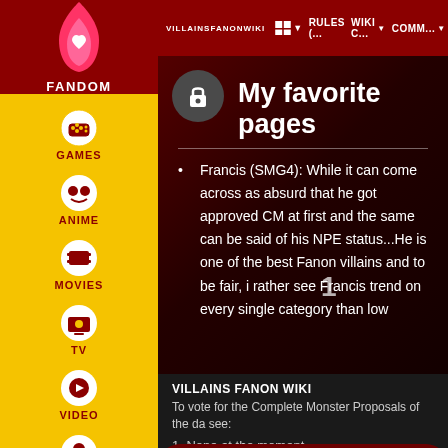VILLAINSFANONWIKI | RULES (... | WIKI C... | COMM...
My favorite pages
Francis (SMG4): While it can come across as absurd that he got approved CM at first and the same can be said of his NPE status...He is one of the best Fanon villains and to be fair, i rather see Francis trend on every single category than low
VILLAINS FANON WIKI
To vote for the Complete Monster Proposals of the da see:
1. None at the moment.
Follow on IG | TikTok | Join Fan Lab | Check out Fandom Quizzes and cha